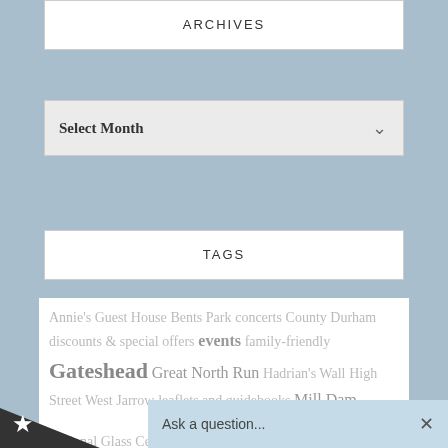ARCHIVES
Select Month
TAGS
Annie's Guest House Bents Park concerts County Durham discounts & special offers events family-friendly Gateshead Great North Run Hadrian's Wall High Street West Jarrow leaflets and guidebooks Mill Dam National Glass Centre NE1 NE4 NE8 NE29 NE32 NE3